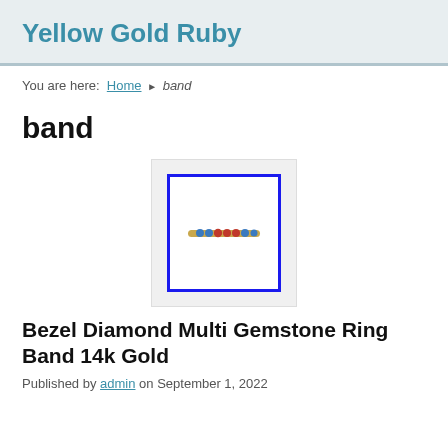Yellow Gold Ruby
You are here: Home ▶ band
band
[Figure (photo): Product image of a Bezel Diamond Multi Gemstone Ring Band 14k Gold, shown inside a blue-bordered white box on a light gray background]
Bezel Diamond Multi Gemstone Ring Band 14k Gold
Published by admin on September 1, 2022